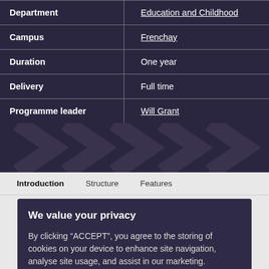| Field | Value |
| --- | --- |
| Department | Education and Childhood |
| Campus | Frenchay |
| Duration | One year |
| Delivery | Full time |
| Programme leader | Will Grant |
[Figure (other): Dark decorative band with chevron/arrow pattern overlay]
Introduction   Structure   Features
We value your privacy

By clicking “ACCEPT”, you agree to the storing of cookies on your device to enhance site navigation, analyse site usage, and assist in our marketing.